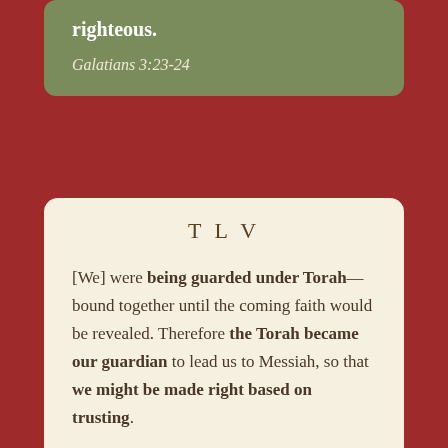righteous.
Galatians 3:23-24
TLV
[We] were being guarded under Torah—bound together until the coming faith would be revealed. Therefore the Torah became our guardian to lead us to Messiah, so that we might be made right based on trusting.
Galatians 3:23-24